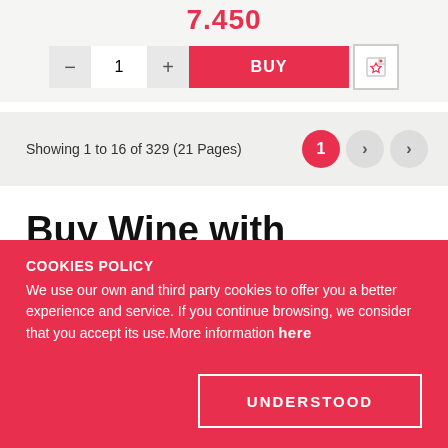7.450
- 1 + BUY
Showing 1 to 16 of 329 (21 Pages)
Buy Wine with Macabeo
Macabeo variety is original from the Penedés appellation in Cataluña. Its clusters are big and packed with middle-
COOKIES POLICY
We use our own and third party cookies to offer you a better experience and service. If you continue browsing, we consider that you accept its use. More information here
UNDERSTOOD